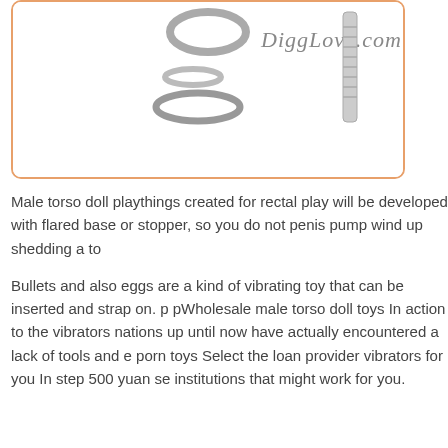[Figure (photo): Product photo showing metal rings and a metal rod/screw component on white background inside an orange-bordered rounded rectangle box. Text 'DiggLove.com' in cursive appears in upper right area of the image.]
Male torso doll playthings created for rectal play will be developed with flared base or stopper, so you do not penis pump wind up shedding a to
Bullets and also eggs are a kind of vibrating toy that can be inserted and strap on. p pWholesale male torso doll toys In action to the vibrators nations up until now have actually encountered a lack of tools and e porn toys Select the loan provider vibrators for you In step 500 yuan se institutions that might work for you.